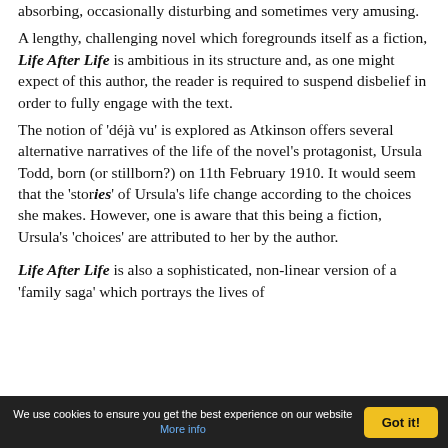absorbing, occasionally disturbing and sometimes very amusing.
A lengthy, challenging novel which foregrounds itself as a fiction, Life After Life is ambitious in its structure and, as one might expect of this author, the reader is required to suspend disbelief in order to fully engage with the text.
The notion of 'déjà vu' is explored as Atkinson offers several alternative narratives of the life of the novel's protagonist, Ursula Todd, born (or stillborn?) on 11th February 1910. It would seem that the 'stories' of Ursula's life change according to the choices she makes. However, one is aware that this being a fiction, Ursula's 'choices' are attributed to her by the author.
Life After Life is also a sophisticated, non-linear version of a 'family saga' which portrays the lives of
We use cookies to ensure you get the best experience on our website More info